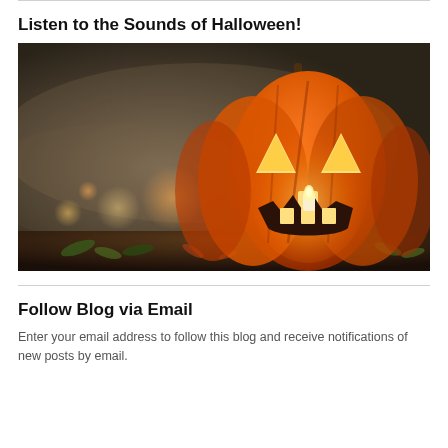Listen to the Sounds of Halloween!
[Figure (photo): A lit jack-o-lantern pumpkin glowing orange with triangular eyes and jagged mouth, candle visible inside, placed on ground with autumn leaves and foliage, bokeh lights in dark foggy background.]
Follow Blog via Email
Enter your email address to follow this blog and receive notifications of new posts by email.